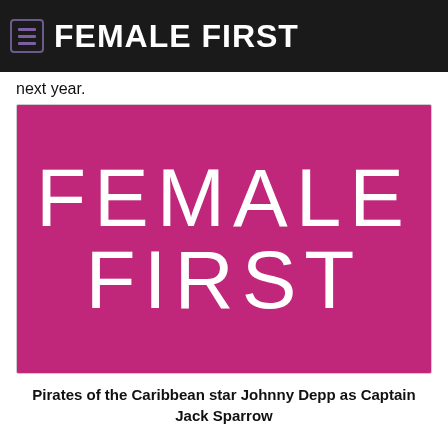FEMALE FIRST
next year.
[Figure (logo): Female First logo: white text 'FEMALE FIRST' on magenta/pink background]
Pirates of the Caribbean star Johnny Depp as Captain Jack Sparrow